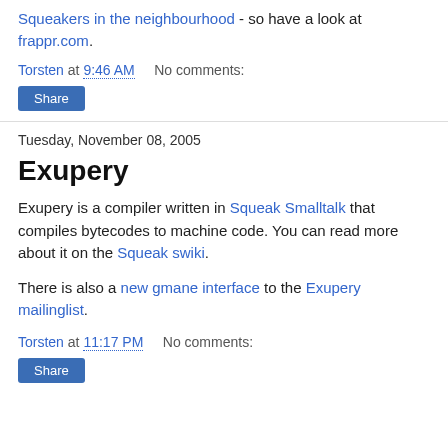Squeakers in the neighbourhood - so have a look at frappr.com.
Torsten at 9:46 AM    No comments:
Share
Tuesday, November 08, 2005
Exupery
Exupery is a compiler written in Squeak Smalltalk that compiles bytecodes to machine code. You can read more about it on the Squeak swiki.
There is also a new gmane interface to the Exupery mailinglist.
Torsten at 11:17 PM    No comments:
Share